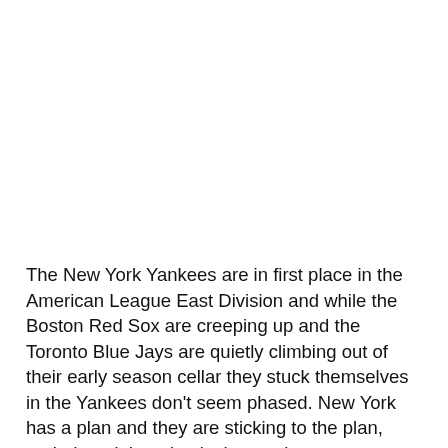The New York Yankees are in first place in the American League East Division and while the Boston Red Sox are creeping up and the Toronto Blue Jays are quietly climbing out of their early season cellar they stuck themselves in the Yankees don't seem phased. New York has a plan and they are sticking to the plan, period, and that plan is the youth movement. The Yankees already have Aaron Judge potentially starting an All Star Game for them if the voting ended today, Gary Sanchez taking over the league behind the dish and the prospect of Gleyber Torres (more on him